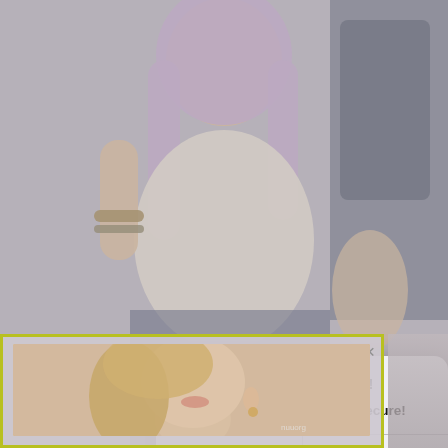[Figure (screenshot): Background photo of a woman with light purple/lavender hair wearing a white blouse, standing near a car door. The image is partially obscured by overlaid dialog boxes.]
[Figure (screenshot): iOS-style system alert dialog with title '(4) NOTIFICATIONS!' and message 'Your Device May Be Not Secure!' with CANCEL and OK buttons in blue.]
[Figure (screenshot): A second overlaid popup with a yellow/olive border containing a cropped photo of a blonde woman's face and neck, with an X close button in the top right.]